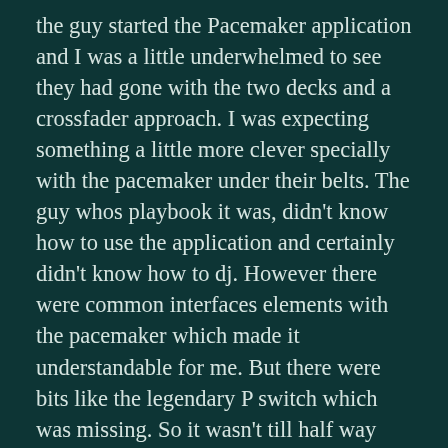the guy started the Pacemaker application and I was a little underwhelmed to see they had gone with the two decks and a crossfader approach. I was expecting something a little more clever specially with the pacemaker under their belts. The guy whos playbook it was, didn't know how to use the application and certainly didn't know how to dj. However there were common interfaces elements with the pacemaker which made it understandable for me. But there were bits like the legendary P switch which was missing. So it wasn't till half way through that I found out how to change the EQ and Gain. That problem was certainly Tonium's.